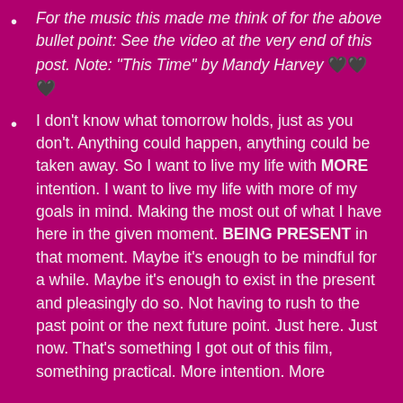For the music this made me think of for the above bullet point: See the video at the very end of this post. Note: "This Time" by Mandy Harvey 🖤🖤🖤
I don't know what tomorrow holds, just as you don't. Anything could happen, anything could be taken away. So I want to live my life with MORE intention. I want to live my life with more of my goals in mind. Making the most out of what I have here in the given moment. BEING PRESENT in that moment. Maybe it's enough to be mindful for a while. Maybe it's enough to exist in the present and pleasingly do so. Not having to rush to the past point or the next future point. Just here. Just now. That's something I got out of this film, something practical. More intention. More